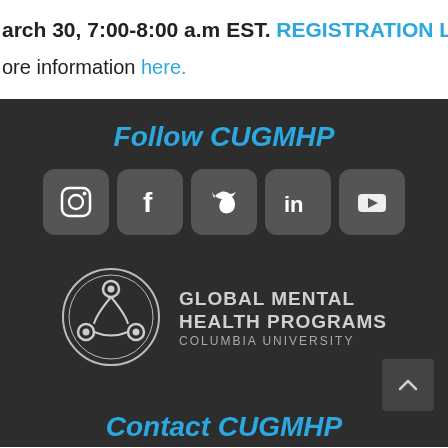arch 30, 7:00-8:00 a.m EST. REGISTRATION LINK.
ore information here.
Follow CUGMHP
[Figure (illustration): Five social media icons in grey rounded square boxes: Instagram, Facebook, Twitter, LinkedIn, YouTube]
[Figure (logo): Global Mental Health Programs Columbia University logo with circular interconnected nodes icon]
Contact CUGMHP